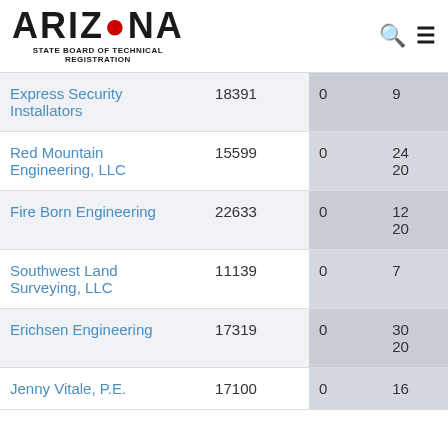[Figure (logo): Arizona State Board of Technical Registration logo with search and menu icons]
| Name | ID | 0 | ... |
| --- | --- | --- | --- |
| Express Security Installators | 18391 | 0 | 9 |
| Red Mountain Engineering, LLC | 15599 | 0 | 24 20 |
| Fire Born Engineering | 22633 | 0 | 12 20 |
| Southwest Land Surveying, LLC | 11139 | 0 | 7 |
| Erichsen Engineering | 17319 | 0 | 30 20 |
| Jenny Vitale, P.E. | 17100 | 0 | 16 |